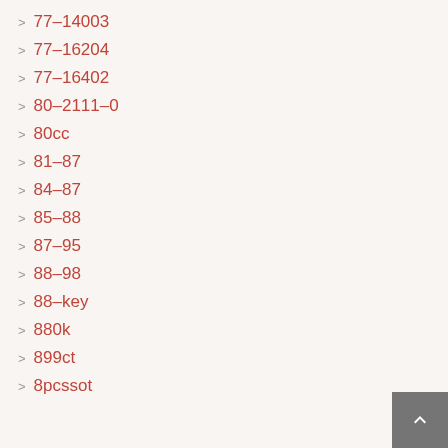77-14003
77-16204
77-16402
80-2111-0
80cc
81-87
84-87
85-88
87-95
88-98
88-key
880k
899ct
8pcssot